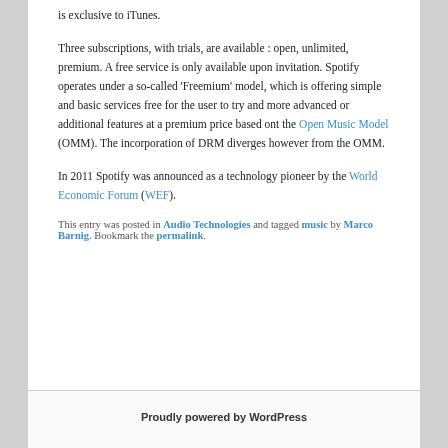is exclusive to iTunes. Three subscriptions, with trials, are available : open, unlimited, premium. A free service is only available upon invitation. Spotify operates under a so-called 'Freemium' model, which is offering simple and basic services free for the user to try and more advanced or additional features at a premium price based ont the Open Music Model (OMM). The incorporation of DRM diverges however from the OMM.
In 2011 Spotify was announced as a technology pioneer by the World Economic Forum (WEF).
This entry was posted in Audio Technologies and tagged music by Marco Barnig. Bookmark the permalink.
Proudly powered by WordPress